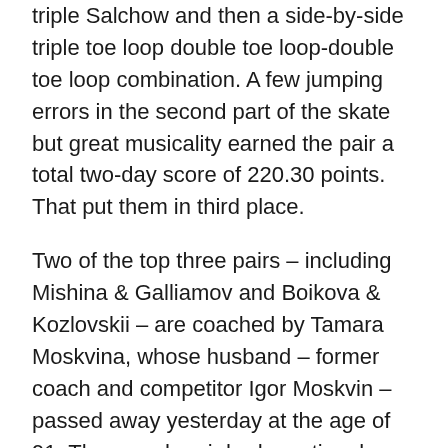triple Salchow and then a side-by-side triple toe loop double toe loop-double toe loop combination. A few jumping errors in the second part of the skate but great musicality earned the pair a total two-day score of 220.30 points. That put them in third place.
Two of the top three pairs – including Mishina & Galliamov and Boikova & Kozlovskii – are coached by Tamara Moskvina, whose husband – former coach and competitor Igor Moskvin – passed away yesterday at the age of 91. Thus, each pair had emotional performances both days.
Silver medalists at the second stage of the Cup of Russia series in Moscow and fourth after the short program, Yasmina Kadirova and Ivan Balchenko were the only pair other than the three leaders to score in the seventies